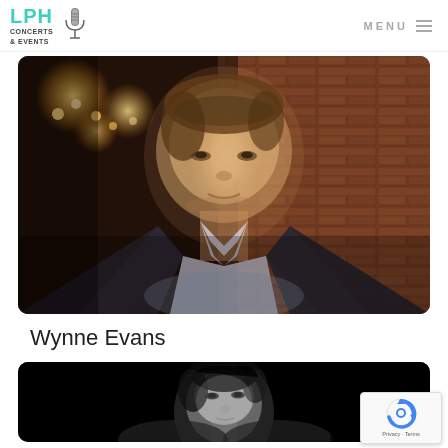LPH CONCERTS & EVENTS   MENU
[Figure (photo): Portrait photo of Wynne Evans, a man in a dark suit jacket and light blue shirt, photographed against a warm brick wall background with stage lighting spotlights visible]
Wynne Evans
[Figure (photo): Black and white portrait photo of a female singer, cropped showing face and upper body against dark background]